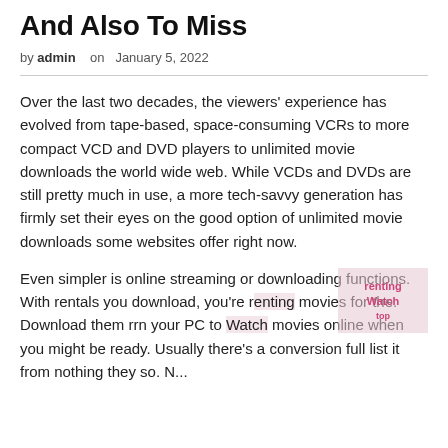And Also To Miss
by admin   on  January 5, 2022
Over the last two decades, the viewers' experience has evolved from tape-based, space-consuming VCRs to more compact VCD and DVD players to unlimited movie downloads the world wide web. While VCDs and DVDs are still pretty much in use, a more tech-savvy generation has firmly set their eyes on the good option of unlimited movie downloads some websites offer right now.
Even simpler is online streaming or downloading functions. With rentals you download, you're renting movies for the. Download them rrn your PC to Watch movies online when you might be ready. Usually there's a conversion full list it from nothing they so. N...